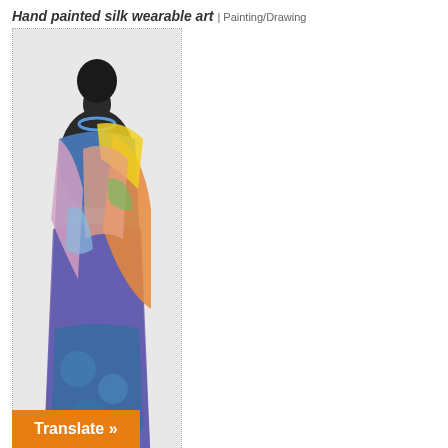Hand painted silk wearable art | Painting/Drawing
[Figure (photo): A mannequin wearing colorful hand-painted silk wearable art in vibrant blues, oranges, yellows and pinks, draped as a sarong/wrap.]
MARITZA SILK DESIGN | Maritza Newman (College Park, MD)
Hand painted silk wearable art
Website – Telephone – E-mail
Hand painted wearable silk art using various techniques including salt, batik, aerofalten and various silks including habotai, charmeuse, and others. Items include scarves, vests, and other wearables.